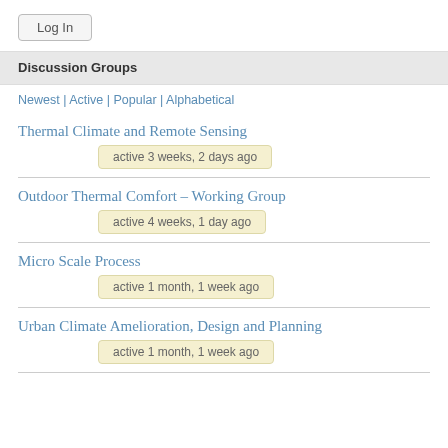Log In
Discussion Groups
Newest | Active | Popular | Alphabetical
Thermal Climate and Remote Sensing
active 3 weeks, 2 days ago
Outdoor Thermal Comfort – Working Group
active 4 weeks, 1 day ago
Micro Scale Process
active 1 month, 1 week ago
Urban Climate Amelioration, Design and Planning
active 1 month, 1 week ago